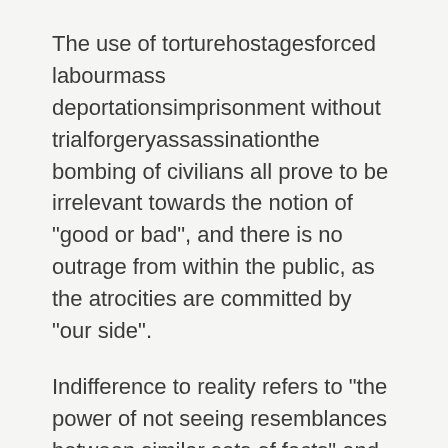The use of torturehostagesforced labourmass deportationsimprisonment without trialforgeryassassinationthe bombing of civilians all prove to be irrelevant towards the notion of "good or bad", and there is no outrage from within the public, as the atrocities are committed by "our side".
Indifference to reality refers to "the power of not seeing resemblances between similar sets of facts" and is a feature of all nationalists, according to Orwell. From there, you can outline the main contention, as well as the arguments of any accompanying written or visual material.
Provided you can wrap things up nicely and make a good final impression, you should be fine. Not how many techniques the essays notes can find. Notes of a Native Son. And an introduction will scroll...